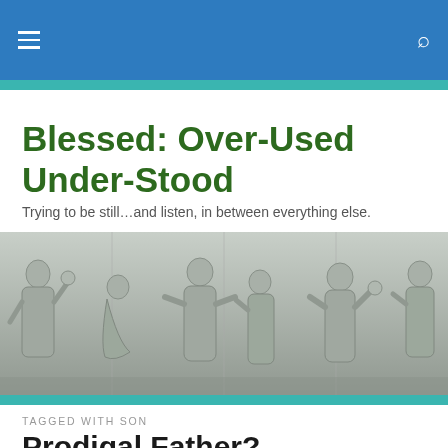Blessed: Over-Used Under-Stood
Trying to be still…and listen, in between everything else.
[Figure (photo): Stone relief sculpture showing multiple robed figures in classical style, carved in grey stone]
TAGGED WITH SON
Prodigal Father?